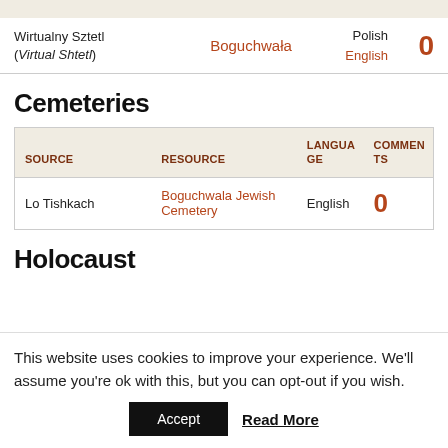| SOURCE | RESOURCE | LANGUAGE | COMMENTS |
| --- | --- | --- | --- |
| Wirtualny Sztetl (Virtual Shtetl) | Boguchwała | Polish
English | 0 |
Cemeteries
| SOURCE | RESOURCE | LANGUAGE | COMMENTS |
| --- | --- | --- | --- |
| Lo Tishkach | Boguchwala Jewish Cemetery | English | 0 |
Holocaust
This website uses cookies to improve your experience. We'll assume you're ok with this, but you can opt-out if you wish.